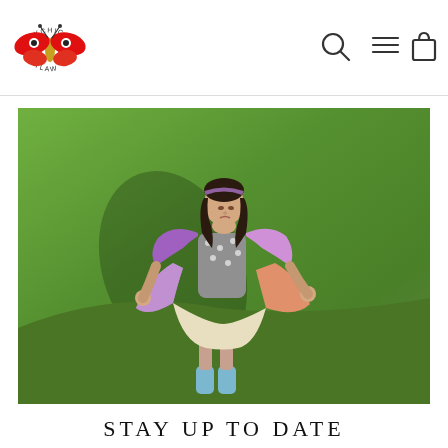[Figure (logo): Psychic Outlaw logo: a red and yellow butterfly with eyes for wings, text 'PSYCHIC' arched above and 'OUTLAW' below, hand-drawn style]
[Figure (other): Navigation icons: magnifying glass (search), three horizontal lines (menu), shopping bag (cart)]
[Figure (photo): A young girl wearing a colorful patchwork dress with purple, pink, and orange floral/paisley print panels, grey polka dot bodice, cream skirt. She stands on green grass, holding out the skirt, looking up. She has a headband, long dark hair, and light blue ankle boots. Her shadow is cast on the grass.]
STAY UP TO DATE